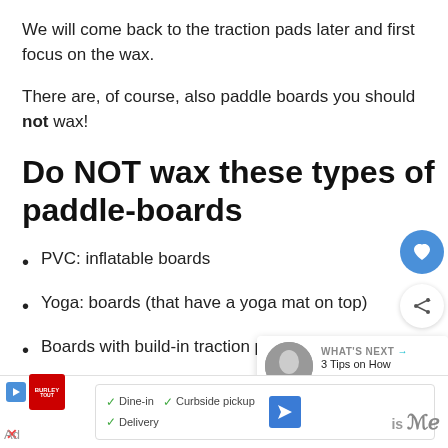We will come back to the traction pads later and first focus on the wax.
There are, of course, also paddle boards you should not wax!
Do NOT wax these types of paddle-boards
PVC: inflatable boards
Yoga: boards (that have a yoga mat on top)
Boards with build-in traction pads